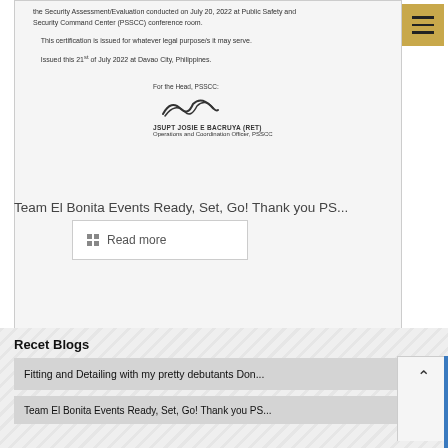[Figure (photo): Scanned document image showing bottom portion of a certification letter. Text reads: 'the Security Assessment/Evaluation conducted on July 20, 2022 at Public Safety and Security Command Center (PSSCC) conference room. This certification is issued for whatever legal purpose/s it may serve. Issued this 21st of July 2022 at Davao City, Philippines.' Followed by signature block: 'For the Head, PSSCC: JSUPT JOSIE E BACRUYA (RET) Operations and Coordination Officer, PSSCC']
Team El Bonita Events Ready, Set, Go! Thank you PS...
Read more
Recet Blogs
Fitting and Detailing with my pretty debutants Don...
Team El Bonita Events Ready, Set, Go! Thank you PS...